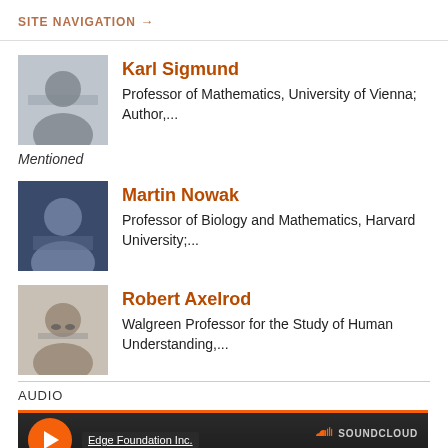SITE NAVIGATION →
Karl Sigmund
Professor of Mathematics, University of Vienna; Author,...
Mentioned
Martin Nowak
Professor of Biology and Mathematics, Harvard University;...
Robert Axelrod
Walgreen Professor for the Study of Human Understanding,...
AUDIO
[Figure (screenshot): SoundCloud audio player widget showing Edge Foundation Inc. with orange Play on SoundCloud button and Listen in browser option]